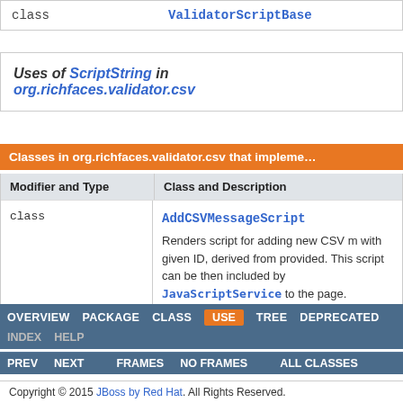|  |  |
| --- | --- |
| class | ValidatorScriptBase |
Uses of ScriptString in org.richfaces.validator.csv
| Modifier and Type | Class and Description |
| --- | --- |
| class | AddCSVMessageScript
Renders script for adding new CSV m with given ID, derived from provided. This script can be then included by JavaScriptService to the page. |
OVERVIEW  PACKAGE  CLASS  USE  TREE  DEPRECATED  INDEX  HELP  PREV  NEXT  FRAMES  NO FRAMES  ALL CLASSES
Copyright © 2015 JBoss by Red Hat. All Rights Reserved.